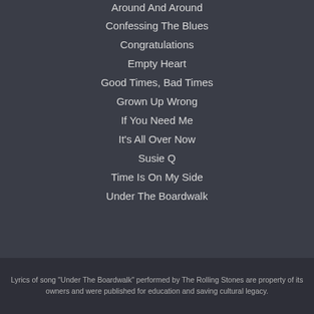Around And Around
Confessing The Blues
Congratulations
Empty Heart
Good Times, Bad Times
Grown Up Wrong
If You Need Me
It's All Over Now
Susie Q
Time Is On My Side
Under The Boardwalk
Lyrics of song "Under The Boardwalk" performed by The Rolling Stones are property of its owners and were published for education and saving cultural legacy.